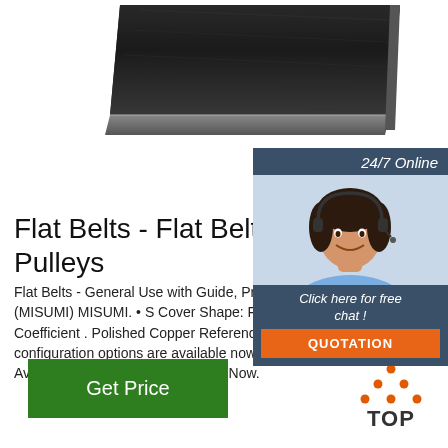[Figure (photo): Close-up photo of a black flat belt, shown diagonally, with textured rubber surface and a flat rectangular profile against a white background.]
Flat Belts - Flat Belts & Pulleys
Flat Belts - General Use with Guide, Pre Lateral Movement (MISUMI) MISUMI. • S Cover Shape: Flat. • Friction Coefficient . Polished Copper Reference Back Side: 0 configuration options are available now. Design. CAD Available in 2D and 3D. Configure Now.
[Figure (photo): Customer service chat widget with a 24/7 Online header in dark blue-gray, photo of a smiling woman with a headset, 'Click here for free chat!' text, and an orange QUOTATION button.]
Get Price
[Figure (logo): TOP badge with orange dots arranged in a triangle above the bold text TOP.]